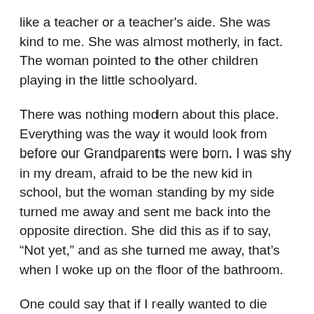like a teacher or a teacher's aide. She was kind to me. She was almost motherly, in fact. The woman pointed to the other children playing in the little schoolyard.
There was nothing modern about this place. Everything was the way it would look from before our Grandparents were born. I was shy in my dream, afraid to be the new kid in school, but the woman standing by my side turned me away and sent me back into the opposite direction. She did this as if to say, “Not yet,” and as she turned me away, that’s when I woke up on the floor of the bathroom.
One could say that if I really wanted to die then I would be dead. And I would agree with this. However, most suicides are more about stopping things that won’t stop. Suicide is the combination of thinking that becomes unmerciful —